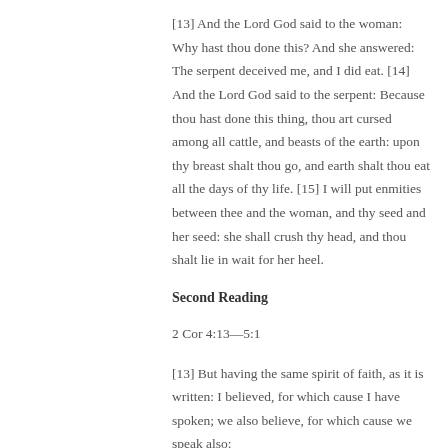[13] And the Lord God said to the woman: Why hast thou done this? And she answered: The serpent deceived me, and I did eat. [14] And the Lord God said to the serpent: Because thou hast done this thing, thou art cursed among all cattle, and beasts of the earth: upon thy breast shalt thou go, and earth shalt thou eat all the days of thy life. [15] I will put enmities between thee and the woman, and thy seed and her seed: she shall crush thy head, and thou shalt lie in wait for her heel.
Second Reading
2 Cor 4:13—5:1
[13] But having the same spirit of faith, as it is written: I believed, for which cause I have spoken; we also believe, for which cause we speak also: